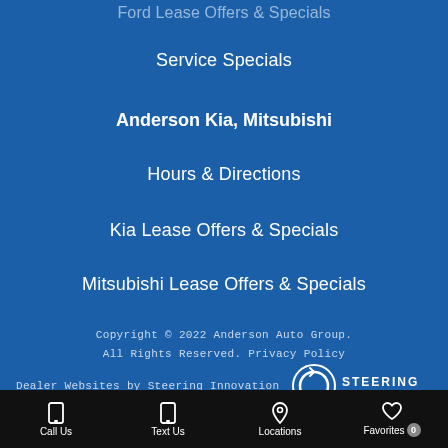Ford Lease Offers & Specials
Service Specials
Anderson Kia, Mitsubishi
Hours & Directions
Kia Lease Offers & Specials
Mitsubishi Lease Offers & Specials
Copyright © 2022 Anderson Auto Group.
All Rights Reserved. Privacy Policy
Dealer Websites by Steering Innovation
[Figure (logo): Steering Innovation logo with circular arrow icon and wordmark]
Call Us  Text Us  Locations  Favorites 0